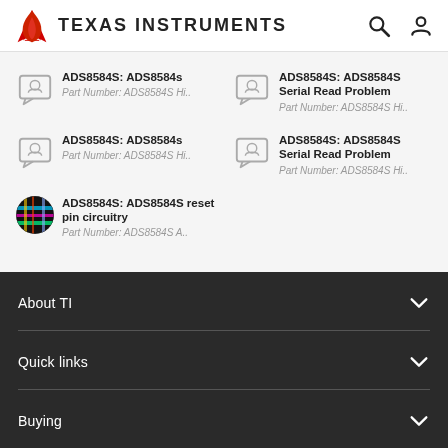Texas Instruments
ADS8584S: ADS8584s
Part Number: ADS8584S Hi..
ADS8584S: ADS8584S Serial Read Problem
Part Number: ADS8584S Hi..
ADS8584S: ADS8584s
Part Number: ADS8584S Hi..
ADS8584S: ADS8584S Serial Read Problem
Part Number: ADS8584S Hi..
ADS8584S: ADS8584S reset pin circuitry
Part Number: ADS8584S A..
About TI
Quick links
Buying